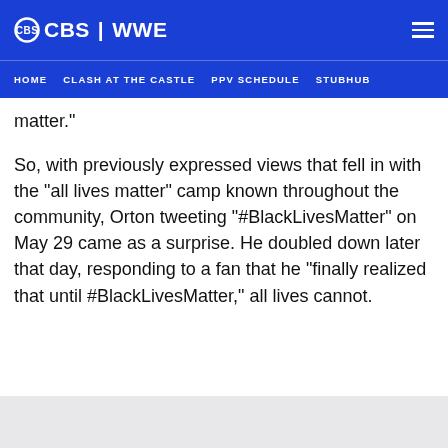⊙CBS | WWE  [hamburger menu]
HOME  CLASH AT THE CASTLE  PPV SCHEDULE  STUBHUB
matter."
So, with previously expressed views that fell in with the "all lives matter" camp known throughout the community, Orton tweeting "#BlackLivesMatter" on May 29 came as a surprise. He doubled down later that day, responding to a fan that he "finally realized that until #BlackLivesMatter," all lives cannot.